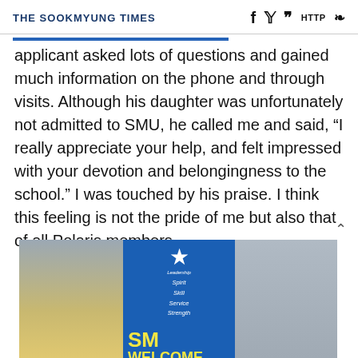THE SOOKMYUNG TIMES
applicant asked lots of questions and gained much information on the phone and through visits.  Although his daughter was unfortunately not admitted to SMU, he called me and said, “I really appreciate your help, and felt impressed with your devotion and belongingness to the school.”  I was touched by his praise.  I think this feeling is not the pride of me but also that of all Polaris members.
[Figure (photo): A blue banner/sign panel reading 'SM WELCOME' in yellow letters with a star logo and words Leadership, Spirit, Skill, Service, Strength. Photo taken in an indoor lobby or hallway.]